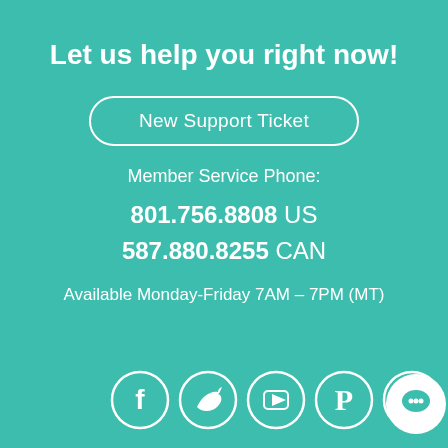Let us help you right now!
New Support Ticket
Member Service Phone:
801.756.8808 US
587.880.8255 CAN
Available Monday-Friday 7AM – 7PM (MT)
[Figure (illustration): Social media icons: Facebook, Twitter, YouTube, Pinterest, Instagram; and a chat bubble icon at lower right]